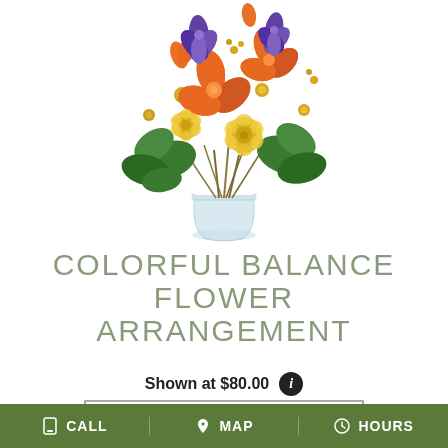[Figure (photo): A colorful flower arrangement in a clear glass vase featuring orange lilies, yellow roses, purple irises, and green foliage on a white background.]
COLORFUL BALANCE FLOWER ARRANGEMENT
Shown at $80.00
BUY NOW
CALL  MAP  HOURS